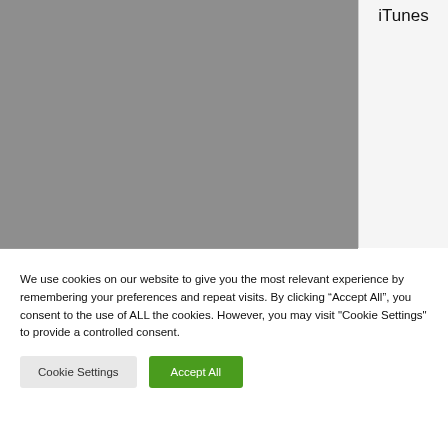[Figure (screenshot): Gray rectangular image area taking up most of the upper portion of the page, with a white/light right panel showing partial text 'iTunes']
iTunes
We use cookies on our website to give you the most relevant experience by remembering your preferences and repeat visits. By clicking “Accept All”, you consent to the use of ALL the cookies. However, you may visit "Cookie Settings" to provide a controlled consent.
Cookie Settings
Accept All